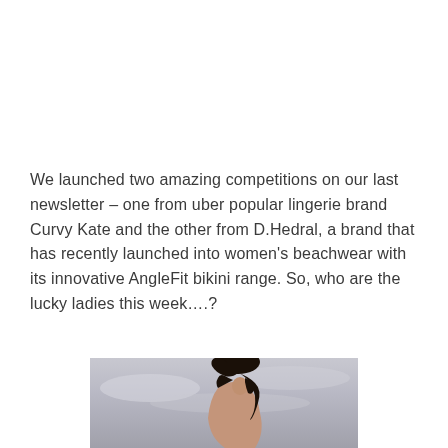We launched two amazing competitions on our last newsletter – one from uber popular lingerie brand Curvy Kate and the other from D.Hedral, a brand that has recently launched into women's beachwear with its innovative AngleFit bikini range. So, who are the lucky ladies this week….?
[Figure (photo): A woman with dark wet hair raising her arm against a cloudy sky background, wearing beachwear]